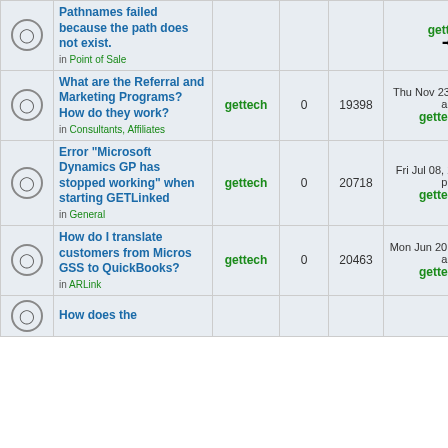|  | Topic | Author | Replies | Views | Last Post |
| --- | --- | --- | --- | --- | --- |
|  | Pathnames failed because the path does not exist.
in Point of Sale | gettech | 0 | 19398 | Thu Nov 23, 2017 8:08 am
gettech |
|  | What are the Referral and Marketing Programs? How do they work?
in Consultants, Affiliates | gettech | 0 | 19398 | Thu Nov 23, 2017 8:08 am
gettech |
|  | Error "Microsoft Dynamics GP has stopped working" when starting GETLinked
in General | gettech | 0 | 20718 | Fri Jul 08, 2016 12:14 pm
gettech |
|  | How do I translate customers from Micros GSS to QuickBooks?
in ARLink | gettech | 0 | 20463 | Mon Jun 20, 2016 10:50 am
gettech |
|  | How does the |  |  |  |  |